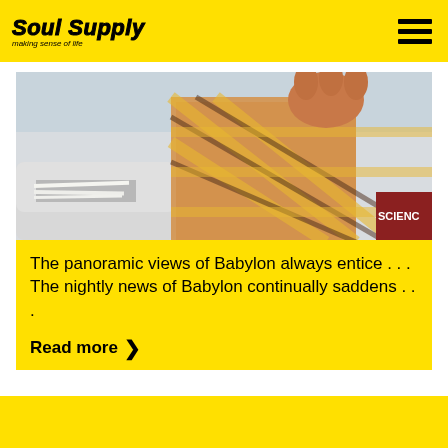Soul Supply — making sense of life
[Figure (photo): Person in plaid shirt reaching into a mailbox filled with papers, partial red text visible at right edge reading 'SCIENC']
The panoramic views of Babylon always entice . . . The nightly news of Babylon continually saddens . . .
Read more ❯